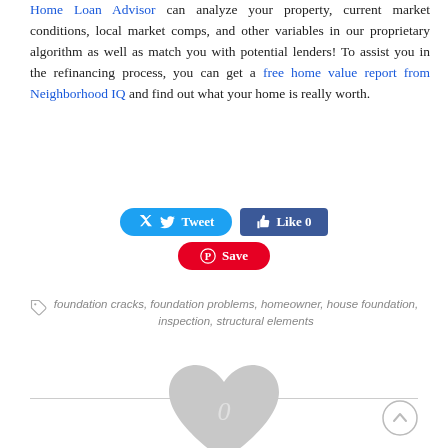Home Loan Advisor can analyze your property, current market conditions, local market comps, and other variables in our proprietary algorithm as well as match you with potential lenders! To assist you in the refinancing process, you can get a free home value report from Neighborhood IQ and find out what your home is really worth.
[Figure (infographic): Social media sharing buttons: Tweet button (blue, rounded), Like 0 button (dark blue, Facebook style), and Save button (red, Pinterest style with P icon)]
foundation cracks, foundation problems, homeowner, house foundation, inspection, structural elements
[Figure (other): A large grey heart shape with the number 0 inside, flanked by horizontal lines on left and right, and a circular scroll-up arrow button on the bottom right]